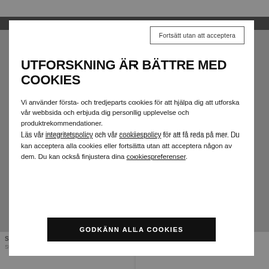[Figure (screenshot): Background website page partially visible behind a cookie consent modal overlay. Shows a dark header bar and product listing items at the bottom.]
Fortsätt utan att acceptera
UTFORSKNING ÄR BÄTTRE MED COOKIES
Vi använder första- och tredjeparts cookies för att hjälpa dig att utforska vår webbsida och erbjuda dig personlig upplevelse och produktrekommendationer. Läs vår integritetspolicy och vår cookiespolicy för att få reda på mer. Du kan acceptera alla cookies eller fortsätta utan att acceptera någon av dem. Du kan också finjustera dina cookiespreferenser.
GODKÄNN ALLA COOKIES
SEAMLESS TOP W
Stretchig, sömlös komfort för
ATHLETOS LAB ZIP DNA
Designad för att du ska kunna